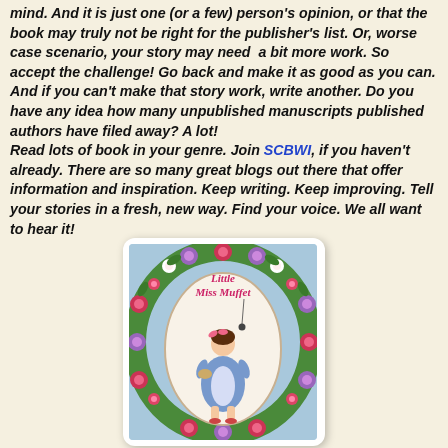mind. And it is just one (or a few) person's opinion, or that the book may truly not be right for the publisher's list. Or, worse case scenario, your story may need a bit more work. So accept the challenge! Go back and make it as good as you can. And if you can't make that story work, write another. Do you have any idea how many unpublished manuscripts published authors have filed away? A lot!
Read lots of book in your genre. Join SCBWI, if you haven't already. There are so many great blogs out there that offer information and inspiration. Keep writing. Keep improving. Tell your stories in a fresh, new way. Find your voice. We all want to hear it!
[Figure (illustration): Book cover of 'Little Miss Muffet' showing a girl in a blue dress sitting on a tuffet, surrounded by a colorful floral border with red, purple, white and green flowers. The title appears in pink italic text inside a white oval on the cover.]